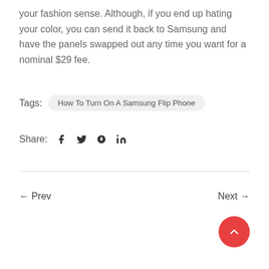your fashion sense. Although, if you end up hating your color, you can send it back to Samsung and have the panels swapped out any time you want for a nominal $29 fee.
Tags: How To Turn On A Samsung Flip Phone
Share: f ⊠ ℗ in
← Prev
Next →